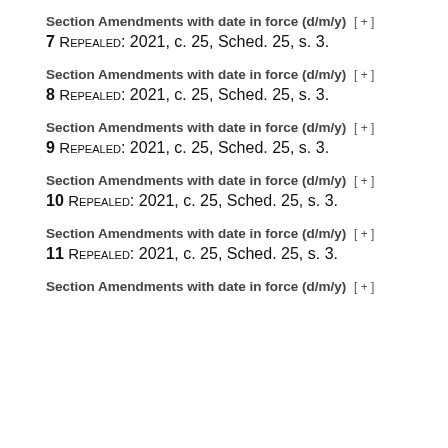Section Amendments with date in force (d/m/y) [+]
7 REPEALED: 2021, c. 25, Sched. 25, s. 3.
Section Amendments with date in force (d/m/y) [+]
8 REPEALED: 2021, c. 25, Sched. 25, s. 3.
Section Amendments with date in force (d/m/y) [+]
9 REPEALED: 2021, c. 25, Sched. 25, s. 3.
Section Amendments with date in force (d/m/y) [+]
10 REPEALED: 2021, c. 25, Sched. 25, s. 3.
Section Amendments with date in force (d/m/y) [+]
11 REPEALED: 2021, c. 25, Sched. 25, s. 3.
Section Amendments with date in force (d/m/y) [+]